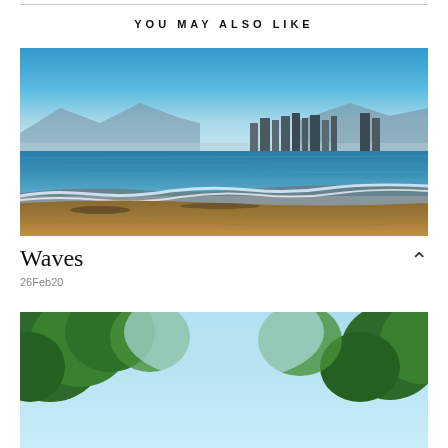YOU MAY ALSO LIKE
[Figure (photo): Beach scene with blue ocean water, sandy shore in the foreground, and a coastal city skyline with buildings visible in the background under a clear blue sky.]
Waves
26Feb20
[Figure (photo): Partial view of a lush green outdoor scene with trees, partially cropped at the bottom of the page.]